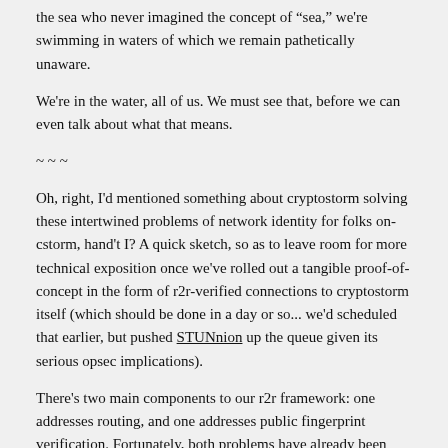the sea who never imagined the concept of "sea," we're swimming in waters of which we remain pathetically unaware.
We're in the water, all of us. We must see that, before we can even talk about what that means.
~ ~ ~
Oh, right, I'd mentioned something about cryptostorm solving these intertwined problems of network identity for folks on-cstorm, hand't I? A quick sketch, so as to leave room for more technical exposition once we've rolled out a tangible proof-of-concept in the form of r2r-verified connections to cryptostorm itself (which should be done in a day or so... we'd scheduled that earlier, but pushed STUNnion up the queue given its serious opsec implications).
There's two main components to our r2r framework: one addresses routing, and one addresses public fingerprint verification. Fortunately, both problems have already been essentially solved (in technical terms) via creative, vibrant technologies that were essentially nonexistent a decade ago.
Verification of the integrity of publicly-published data is a problem fundamentally solved by by the blockchains. Consensus validation of chain-posted data works, and has proved robust against very strong